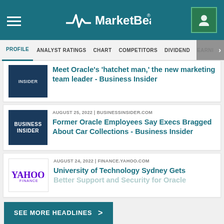MarketBeat
PROFILE | ANALYST RATINGS | CHART | COMPETITORS | DIVIDEND | EARNINGS
Meet Oracle's 'hatchet man,' the new marketing team leader - Business Insider
AUGUST 25, 2022 | BUSINESSINSIDER.COM
Former Oracle Employees Say Execs Bragged About Car Collections - Business Insider
AUGUST 24, 2022 | FINANCE.YAHOO.COM
University of Technology Sydney Gets Better Support and Security for Oracle
SEE MORE HEADLINES >